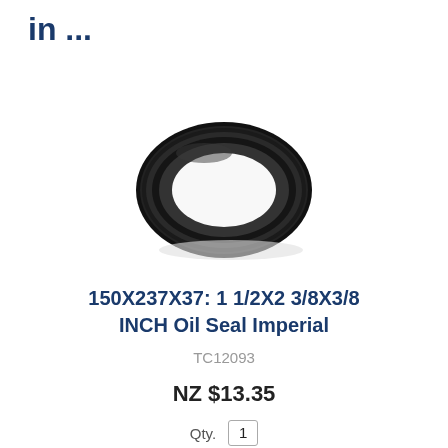in ...
[Figure (photo): A black rubber oil seal ring (TC type radial shaft seal) viewed at a slight angle, showing the oval/elliptical shape with inner lip detail.]
150X237X37: 1 1/2X2 3/8X3/8 INCH Oil Seal Imperial
TC12093
NZ $13.35
Qty.  1